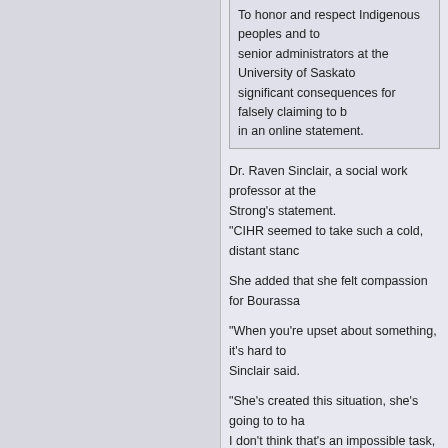To honor and respect Indigenous peoples and to... senior administrators at the University of Saskatchewan... significant consequences for falsely claiming to be... in an online statement.
Dr. Raven Sinclair, a social work professor at the... Strong's statement. "CIHR seemed to take such a cold, distant stance...
She added that she felt compassion for Bourassa...
"When you're upset about something, it's hard to... Sinclair said.
"She's created this situation, she's going to to ha... I don't think that's an impossible task, but it migh...
Read more, with additional links, at CB
https://www.cbc.ca/news/canada/saska... indigenous-1.6233247
educatedindian
Administrator
Posts: 4680
Re: Dr. Carrie Bourassa — claims Métis, Tlingit and Anishinaabe heritage
« Reply #1 on: November 02, 2021, 02:48:22 pm